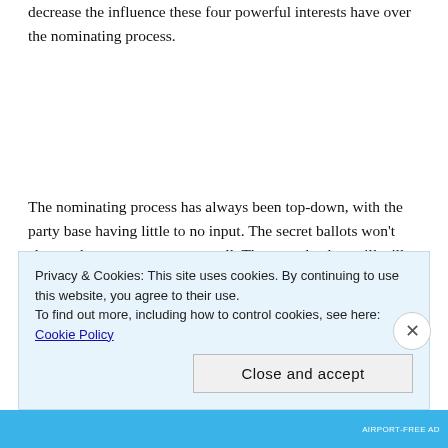decrease the influence these four powerful interests have over the nominating process.
The nominating process has always been top-down, with the party base having little to no input. The secret ballots won't change that power structure at all. The party leaders will still be the ones casting votes and the base won't know whom they voted for. The main shift would be a consolidation of power away from the four interest groups back to the party
Privacy & Cookies: This site uses cookies. By continuing to use this website, you agree to their use. To find out more, including how to control cookies, see here: Cookie Policy
Close and accept